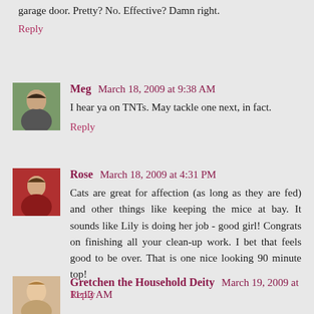garage door. Pretty? No. Effective? Damn right.
Reply
Meg  March 18, 2009 at 9:38 AM
I hear ya on TNTs. May tackle one next, in fact.
Reply
Rose  March 18, 2009 at 4:31 PM
Cats are great for affection (as long as they are fed) and other things like keeping the mice at bay. It sounds like Lily is doing her job - good girl! Congrats on finishing all your clean-up work. I bet that feels good to be over. That is one nice looking 90 minute top!
Reply
Gretchen the Household Deity  March 19, 2009 at 11:12 AM